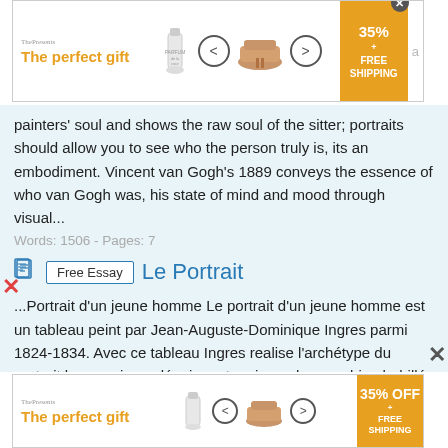[Figure (screenshot): Advertisement banner at top: 'The perfect gift' with gift bottle image, navigation arrows, bowl image, and '35% OFF + FREE SHIPPING' yellow promo box with X close button]
painters' soul and shows the raw soul of the sitter; portraits should allow you to see who the person truly is, its an embodiment. Vincent van Gogh's 1889 conveys the essence of who van Gogh was, his state of mind and mood through visual...
Words: 1506 - Pages: 7
Le Portrait
...Portrait d'un jeune homme Le portrait d'un jeune homme est un tableau peint par Jean-Auguste-Dominique Ingres parmi 1824-1834. Avec ce tableau Ingres realise l'archétype du portrait bourgeois en dépeignant un jeune homme bien habillé et bien soigné. L'homme est âgé à peu près de 20 ans. Il a
[Figure (screenshot): Advertisement banner at bottom: 'The perfect gift' with gift bottle image, navigation arrows, bowl image, and '35% OFF + FREE SHIPPING' yellow promo box]